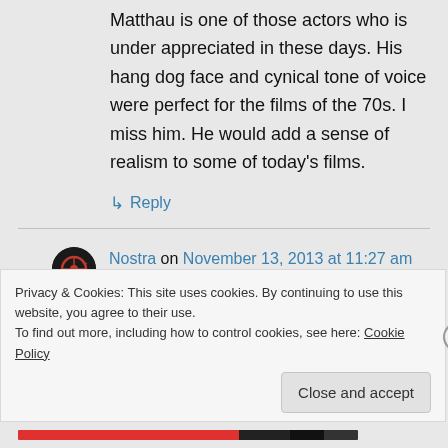Matthau is one of those actors who is under appreciated in these days. His hang dog face and cynical tone of voice were perfect for the films of the 70s. I miss him. He would add a sense of realism to some of today’s films.
↳ Reply
Nostra on November 13, 2013 at 11:27 am
Privacy & Cookies: This site uses cookies. By continuing to use this website, you agree to their use.
To find out more, including how to control cookies, see here: Cookie Policy